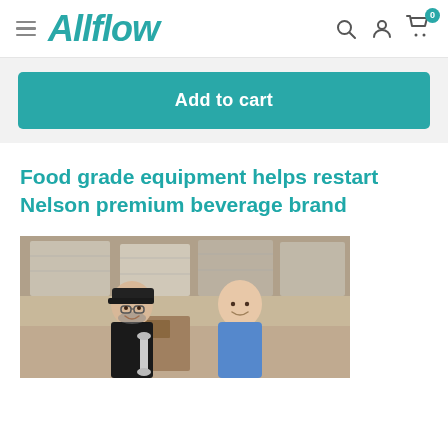Allflow
Add to cart
Food grade equipment helps restart Nelson premium beverage brand
[Figure (photo): Two men smiling in a warehouse/storage facility. The man on the left wears a black cap and black polo shirt and holds a stainless steel fitting. The man on the right wears a blue button-up shirt. Behind them are stacked pallets wrapped in plastic.]